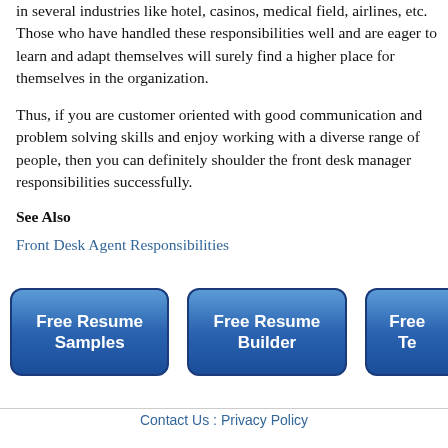in several industries like hotel, casinos, medical field, airlines, etc. Those who have handled these responsibilities well and are eager to learn and adapt themselves will surely find a higher place for themselves in the organization.
Thus, if you are customer oriented with good communication and problem solving skills and enjoy working with a diverse range of people, then you can definitely shoulder the front desk manager responsibilities successfully.
See Also
Front Desk Agent Responsibilities
[Figure (other): Three blue gradient rounded buttons: 'Free Resume Samples', 'Free Resume Builder', and a partially visible third button starting with 'Free Te...']
Contact Us : Privacy Policy